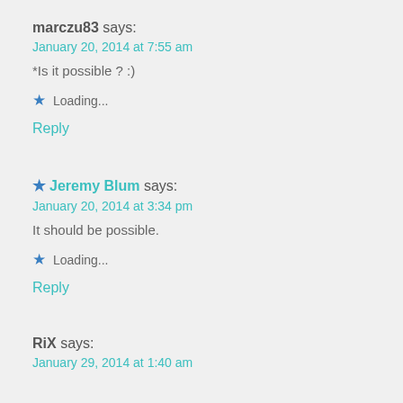marczu83 says:
January 20, 2014 at 7:55 am
*Is it possible ? :)
Loading...
Reply
Jeremy Blum says:
January 20, 2014 at 3:34 pm
It should be possible.
Loading...
Reply
RiX says:
January 29, 2014 at 1:40 am